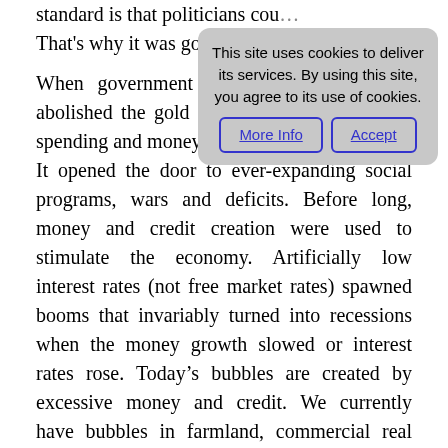standard is that politicians cou… That's why it was good, and th… When government gained … abolished the gold standard a… control over spending and money creation, the die was cast. It opened the door to ever-expanding social programs, wars and deficits. Before long, money and credit creation were used to stimulate the economy. Artificially low interest rates (not free market rates) spawned booms that invariably turned into recessions when the money growth slowed or interest rates rose. Today's bubbles are created by excessive money and credit. We currently have bubbles in farmland, commercial real estate, art, antiques and collectors items. It's the consequence of inflationary money and credit. In 1928, the national debt was $17 billion, in 1968 $347 billion, in 2008 $9 trillion. You see it's running away…
[Figure (other): Cookie consent banner with text 'This site uses cookies to deliver its services. By using this site, you agree to its use of cookies.' and two buttons: 'More Info' and 'Accept'.]